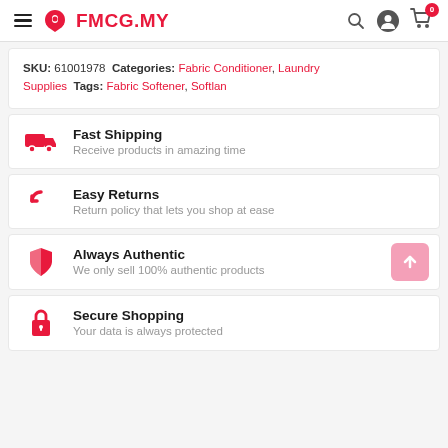FMCG.MY
SKU: 61001978 Categories: Fabric Conditioner, Laundry Supplies Tags: Fabric Softener, Softlan
Fast Shipping - Receive products in amazing time
Easy Returns - Return policy that lets you shop at ease
Always Authentic - We only sell 100% authentic products
Secure Shopping - Your data is always protected